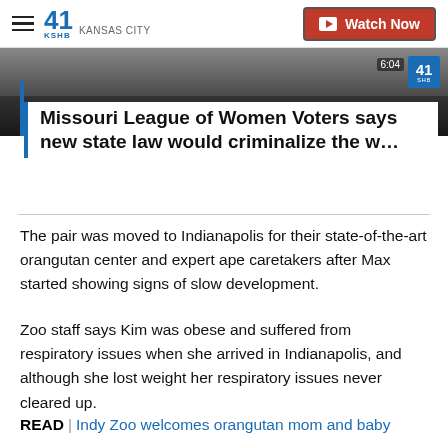41 KSHB KANSAS CITY | Watch Now
[Figure (screenshot): Thumbnail image strip from a KSHB news video, dark background with station logo and time badge]
Missouri League of Women Voters says new state law would criminalize the w…
The pair was moved to Indianapolis for their state-of-the-art orangutan center and expert ape caretakers after Max started showing signs of slow development.
Zoo staff says Kim was obese and suffered from respiratory issues when she arrived in Indianapolis, and although she lost weight her respiratory issues never cleared up.
READ | Indy Zoo welcomes orangutan mom and baby